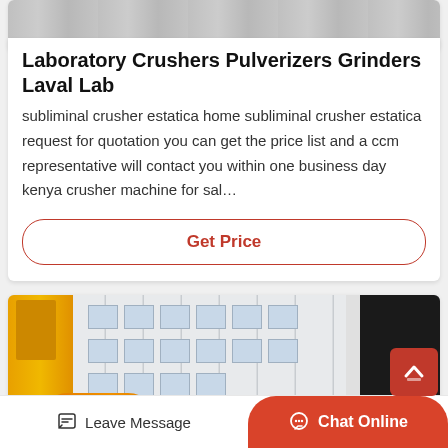[Figure (photo): Top portion of a machinery or equipment photo, partially visible at the top of the card]
Laboratory Crushers Pulverizers Grinders Laval Lab
subliminal crusher estatica home subliminal crusher estatica request for quotation you can get the price list and a ccm representative will contact you within one business day kenya crusher machine for sal…
Get Price
[Figure (photo): Factory building with yellow crane on the left side, white industrial building facade with windows in the center, black door on the right, and orange machinery/equipment at the bottom]
Leave Message
Chat Online